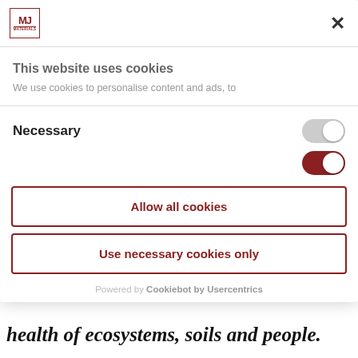[Figure (logo): MJ logo in red border box]
×
This website uses cookies
We use cookies to personalise content and ads, to
Necessary
Allow all cookies
Use necessary cookies only
Powered by Cookiebot by Usercentrics
health of ecosystems, soils and people.